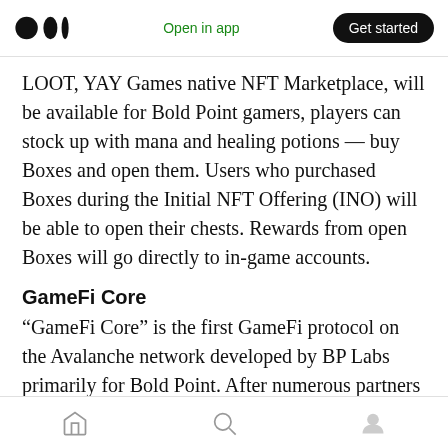Medium — Open in app | Get started
LOOT, YAY Games native NFT Marketplace, will be available for Bold Point gamers, players can stock up with mana and healing potions — buy Boxes and open them. Users who purchased Boxes during the Initial NFT Offering (INO) will be able to open their chests. Rewards from open Boxes will go directly to in-game accounts.
GameFi Core
“GameFi Core” is the first GameFi protocol on the Avalanche network developed by BP Labs primarily for Bold Point. After numerous partners
Home | Search | Profile